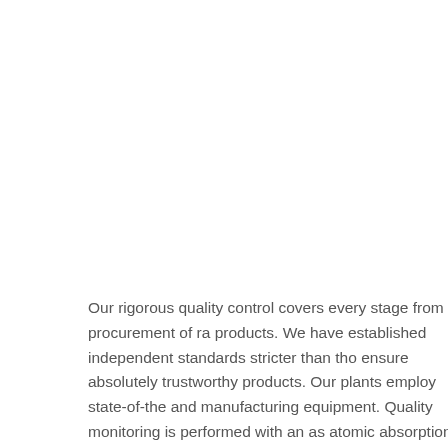Our rigorous quality control covers every stage from procurement of ra products. We have established independent standards stricter than tho ensure absolutely trustworthy products. Our plants employ state-of-the and manufacturing equipment. Quality monitoring is performed with an as atomic absorption spectrometers and high performance liquid chrom water purified using reverse osmosis membrane water purification equ state-of-the-art facilities ensuring the manufacturing process meets the Cosmetic products are used directly on the skin. MENARD's commitm integral part of our products' value.